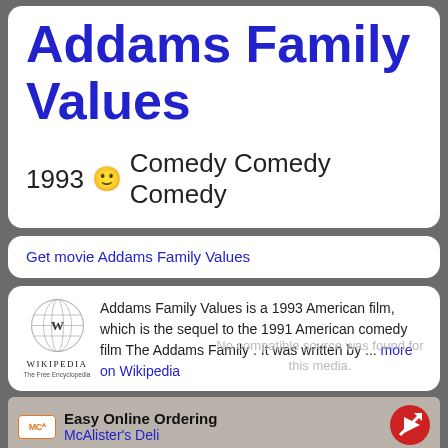Addams Family Values
1993 😊 Comedy Comedy Comedy
Get movie Addams Family Values
[Figure (logo): Wikipedia globe logo with 'WIKIPEDIA The Free Encyclopedia' wordmark]
Addams Family Values is a 1993 American film, which is the sequel to the 1991 American comedy film The Addams Family . It was written by ... more on Wikipedia
No compatible source was found for this media.
[Figure (infographic): McAlister's Deli advertisement with logo, 'Easy Online Ordering' text, McAlister's Deli link, and a red navigation/direction icon]